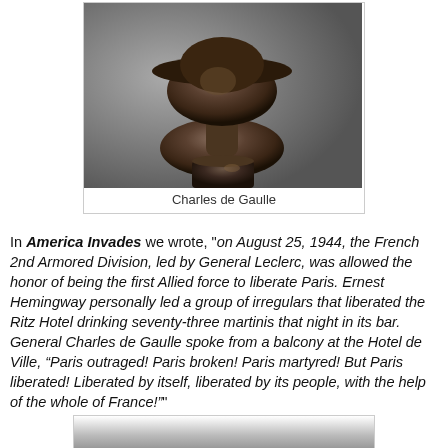[Figure (photo): Bronze bust sculpture of Charles de Gaulle on a pedestal, photographed against a light background]
Charles de Gaulle
In America Invades we wrote, "on August 25, 1944, the French 2nd Armored Division, led by General Leclerc, was allowed the honor of being the first Allied force to liberate Paris. Ernest Hemingway personally led a group of irregulars that liberated the Ritz Hotel drinking seventy-three martinis that night in its bar. General Charles de Gaulle spoke from a balcony at the Hotel de Ville, “Paris outraged! Paris broken! Paris martyred! But Paris liberated! Liberated by itself, liberated by its people, with the help of the whole of France!”
[Figure (photo): Partial view of another image at the bottom of the page, cropped]